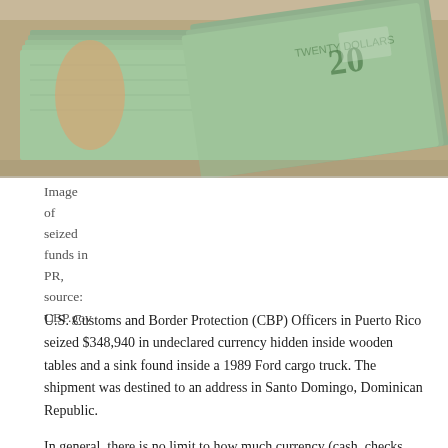[Figure (photo): Close-up photograph of stacks of US twenty-dollar bills, seized currency funds in Puerto Rico, source: CBP.gov]
Image of seized funds in PR, source: CBP.gov
U.S. Customs and Border Protection (CBP) Officers in Puerto Rico seized $348,940 in undeclared currency hidden inside wooden tables and a sink found inside a 1989 Ford cargo truck. The shipment was destined to an address in Santo Domingo, Dominican Republic.
In general, there is no limit to how much currency (cash, checks, traveler's checks, foreign currency) can be importer or exported by travelers. However, any amount over $10,000, however federal law